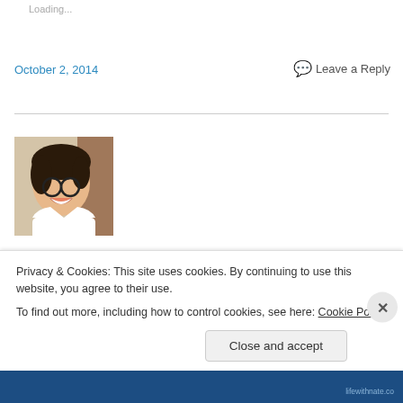Loading...
October 2, 2014
Leave a Reply
[Figure (photo): Profile photo of a smiling young Asian woman with glasses and dark hair pulled back, wearing a white shirt, against an indoor background.]
I am a proud Nanna to our darling baby Nate, my first grandchild...
Privacy & Cookies: This site uses cookies. By continuing to use this website, you agree to their use.
To find out more, including how to control cookies, see here: Cookie Policy
Close and accept